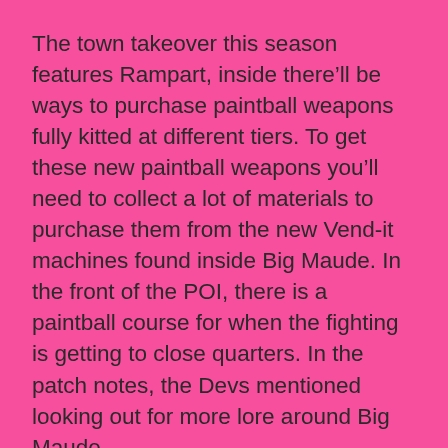The town takeover this season features Rampart, inside there'll be ways to purchase paintball weapons fully kitted at different tiers. To get these new paintball weapons you'll need to collect a lot of materials to purchase them from the new Vend-it machines found inside Big Maude. In the front of the POI, there is a paintball course for when the fighting is getting to close quarters. In the patch notes, the Devs mentioned looking out for more lore around Big Maude.
This takeover also affects Arenas. Rampart has a special deal offering certain modded weapons at a discount for materials. These deals will rotate from weapon to weapon, check which ones are viable before going in a match to get the advantage over